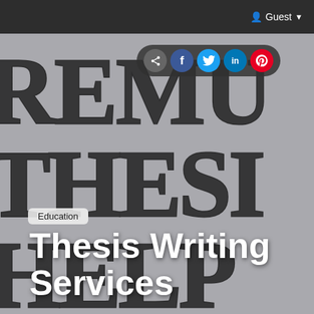Guest
[Figure (photo): Close-up photo of large bold serif lettering spelling out PREMIUM THESIS HELP in black on a grey/white background, cropped so only partial letters REMU, THESI, and ELP are visible]
Education
Thesis Writing Services